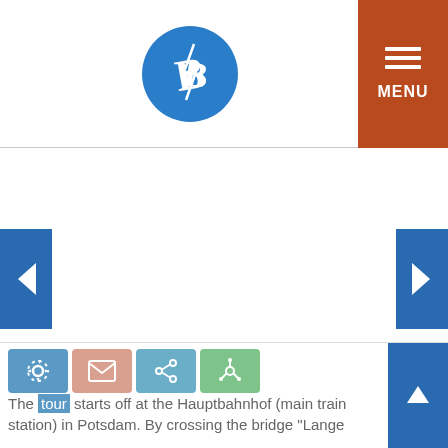[Figure (logo): Blue circular logo with stylized B letters and a lightning bolt, centered in white header area]
[Figure (other): Orange/brown menu button in top right corner with three white horizontal bars (hamburger icon) and the word MENU in white text below]
[Figure (other): Blue navigation arrow pointing left on the left edge of the slideshow area]
[Figure (other): Blue navigation arrow pointing right on the right edge of the slideshow area]
[Figure (other): Bottom toolbar with colored icon boxes (blue gear/settings icon, salmon/pink envelope icon, blue share icon, green share/network icon) and a blue scroll-to-top button on the right]
The tour starts off at the Hauptbahnhof (main train station) in Potsdam. By crossing the bridge "Lange